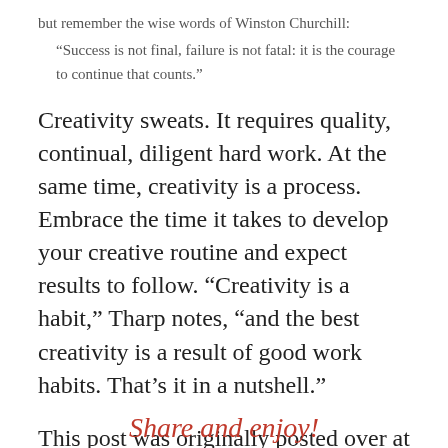but remember the wise words of Winston Churchill: “Success is not final, failure is not fatal: it is the courage to continue that counts.”
Creativity sweats. It requires quality, continual, diligent hard work. At the same time, creativity is a process. Embrace the time it takes to develop your creative routine and expect results to follow. “Creativity is a habit,” Tharp notes, “and the best creativity is a result of good work habits. That’s it in a nutshell.”
This post was originally posted over at LinkedIn. Check out more of LinkedIn posts here.
Share and enjoy!